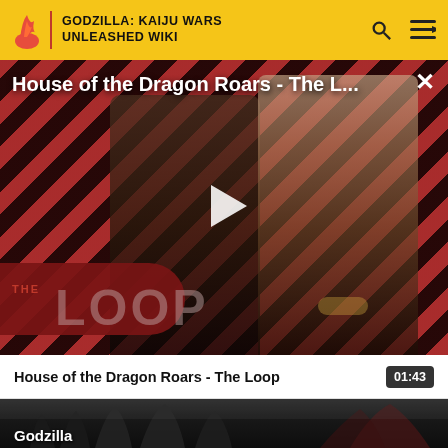GODZILLA: KAIJU WARS UNLEASHED WIKI
[Figure (screenshot): Video player showing 'House of the Dragon Roars - The L...' with diagonal red and black stripes background, two figures (armored character and woman in period costume), THE LOOP branding overlay, white play button triangle in center, close X button top right]
House of the Dragon Roars - The Loop
01:43
[Figure (screenshot): Thumbnail of Godzilla creature, dark silhouette against grey misty background showing spines/ridges, with 'Godzilla' label at bottom left]